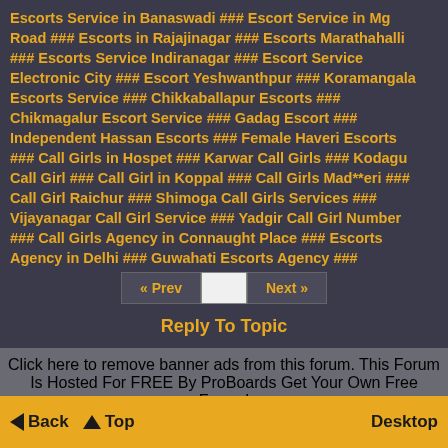Escorts Service in Banaswadi ### Escort Service in Mg Road ### Escorts in Rajajinagar ### Escorts Marathahalli ### Escorts Service Indiranagar ### Escort Service Electronic City ### Escort Yeshwanthpur ### Koramangala Escorts Service ### Chikkaballapur Escorts ### Chikmagalur Escort Service ### Gadag Escort ### Independent Hassan Escorts ### Female Haveri Escorts ### Call Girls in Hospet ### Karwar Call Girls ### Kodagu Call Girl ### Call Girl in Koppal ### Call Girls Mad**eri ### Call Girl Raichur ### Shimoga Call Girls Services ### Vijayanagar Call Girl Service ### Yadgir Call Girl Number ### Call Girls Agency in Connaught Place ### Escorts Agency in Delhi ### Guwahati Escorts Agency ###
« Prev  [page]  Next »
Reply To Topic
Click here to remove banner ads from this forum. This Forum Is Hosted For FREE By ProBoards Get Your Own Free Forum! Terms of Service · Privacy · Cookies · FTC Disclosure · Report Abuse · Do Not Sell My Personal Information
◄ Back  ▲ Top  Desktop